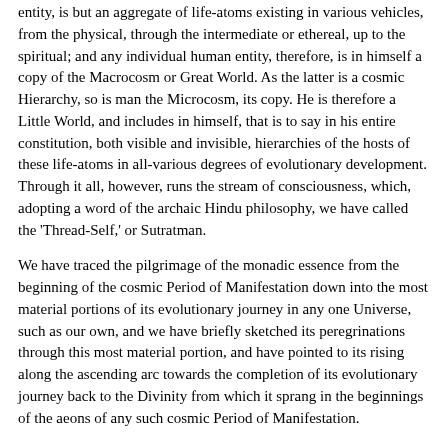entity, is but an aggregate of life-atoms existing in various vehicles, from the physical, through the intermediate or ethereal, up to the spiritual; and any individual human entity, therefore, is in himself a copy of the Macrocosm or Great World. As the latter is a cosmic Hierarchy, so is man the Microcosm, its copy. He is therefore a Little World, and includes in himself, that is to say in his entire constitution, both visible and invisible, hierarchies of the hosts of these life-atoms in all-various degrees of evolutionary development. Through it all, however, runs the stream of consciousness, which, adopting a word of the archaic Hindu philosophy, we have called the 'Thread-Self,' or Sutratman.
We have traced the pilgrimage of the monadic essence from the beginning of the cosmic Period of Manifestation down into the most material portions of its evolutionary journey in any one Universe, such as our own, and we have briefly sketched its peregrinations through this most material portion, and have pointed to its rising along the ascending arc towards the completion of its evolutionary journey back to the Divinity from which it sprang in the beginnings of the aeons of any such cosmic Period of Manifestation.
As Nature is repetitive in action throughout, as she works wholly after a cyclical manner or pattern; thus also is reincarnation, one of Nature's operations, in the small but a repetition of the general rule of the pilgrimage of the monadic essence in the Large or Great...